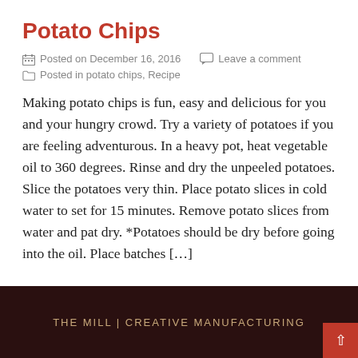Potato Chips
Posted on December 16, 2016   Leave a comment
Posted in potato chips, Recipe
Making potato chips is fun, easy and delicious for you and your hungry crowd. Try a variety of potatoes if you are feeling adventurous. In a heavy pot, heat vegetable oil to 360 degrees. Rinse and dry the unpeeled potatoes. Slice the potatoes very thin. Place potato slices in cold water to set for 15 minutes. Remove potato slices from water and pat dry. *Potatoes should be dry before going into the oil. Place batches [...]
THE MILL | CREATIVE MANUFACTURING